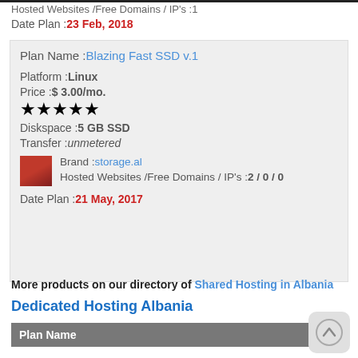Hosted Websites /Free Domains / IP's :1
Date Plan :23 Feb, 2018
Plan Name :Blazing Fast SSD v.1
Platform :Linux
Price :$ 3.00/mo.
★★★★★
Diskspace :5 GB SSD
Transfer :unmetered
Brand :storage.al
Hosted Websites /Free Domains / IP's :2 / 0 / 0
Date Plan :21 May, 2017
More products on our directory of Shared Hosting in Albania
Dedicated Hosting Albania
| Plan Name |
| --- |
Plan Name :INTEL 10-CORE
Platform :Linux/Windows
Price :€ 149.99/mo.